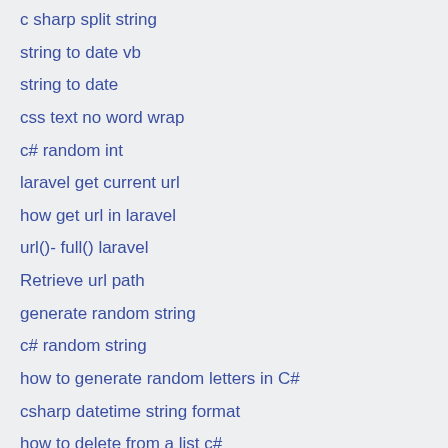c sharp split string
string to date vb
string to date
css text no word wrap
c# random int
laravel get current url
how get url in laravel
url()- full() laravel
Retrieve url path
generate random string
c# random string
how to generate random letters in C#
csharp datetime string format
how to delete from a list c#